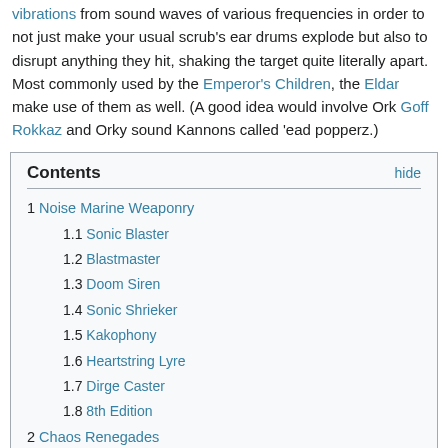vibrations from sound waves of various frequencies in order to not just make your usual scrub's ear drums explode but also to disrupt anything they hit, shaking the target quite literally apart. Most commonly used by the Emperor's Children, the Eldar make use of them as well. (A good idea would involve Ork Goff Rokkaz and Orky sound Kannons called 'ead popperz.)
Contents: 1 Noise Marine Weaponry, 1.1 Sonic Blaster, 1.2 Blastmaster, 1.3 Doom Siren, 1.4 Sonic Shrieker, 1.5 Kakophony, 1.6 Heartstring Lyre, 1.7 Dirge Caster, 1.8 8th Edition, 2 Chaos Renegades, 2.1 Ghibleline Shrieking Pistol